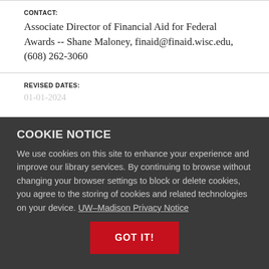CONTACT:
Associate Director of Financial Aid for Federal Awards -- Shane Maloney, finaid@finaid.wisc.edu, (608) 262-3060
REVISED DATES:
COOKIE NOTICE
We use cookies on this site to enhance your experience and improve our library services. By continuing to browse without changing your browser settings to block or delete cookies, you agree to the storing of cookies and related technologies on your device. UW–Madison Privacy Notice
GOT IT!